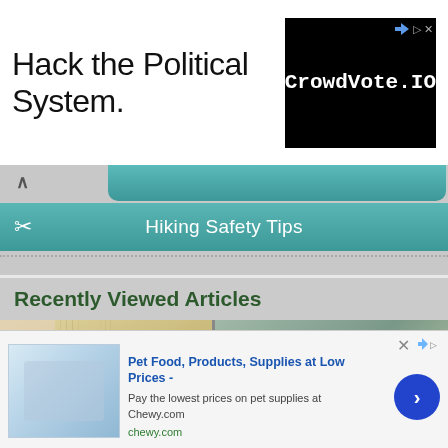[Figure (screenshot): Top advertisement banner: 'Hack the Political System.' text on left, CrowdVote.IO logo on black background on right]
[Figure (screenshot): Navigation UI with up caret, scissors icon, teal tab partially visible at top, teal search/nav bar with 'Hiking Safety Tips' text, dotted divider below]
Recently Viewed Articles
[Figure (screenshot): Two images side by side: left shows close-up of blonde hair, right shows video player with 'HOW TO MAKE WASНCLOTH BUNNIES' overlay on teal circle, craft bunny visible, with playback controls]
[Figure (screenshot): Bottom advertisement: Chewy.com ad showing 'Pet Food, Products, Supplies at Low Prices -' in bold blue, 'Pay the lowest prices on pet supplies at Chewy.com', 'chewy.com' in green, with product thumbnail on left and blue arrow button on right]